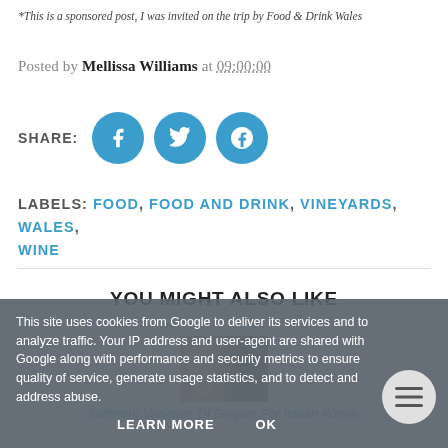*This is a sponsored post, I was invited on the trip by Food & Drink Wales
Posted by Mellissa Williams at 09:00:00
SHARE: [Facebook] [Twitter] [Pinterest]
LABELS: FOOD, FOOD AND DRINK, VINEYARDS, WALES, WINE
YOU MIGHT ALSO LIKE
[Figure (photo): Thumbnail image of wine barrels or bottles]
Different Varieties Of Grapes For Italian Wines
This site uses cookies from Google to deliver its services and to analyze traffic. Your IP address and user-agent are shared with Google along with performance and security metrics to ensure quality of service, generate usage statistics, and to detect and address abuse.
LEARN MORE   OK